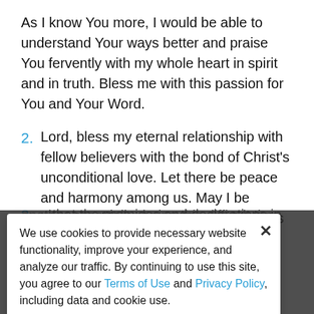As I know You more, I would be able to understand Your ways better and praise You fervently with my whole heart in spirit and in truth. Bless me with this passion for You and Your Word.
2. Lord, bless my eternal relationship with fellow believers with the bond of Christ's unconditional love. Let there be peace and harmony among us. May I be intentional in praising You with brothers and sisters in the Lord in order to encourage one another especially during this difficult time.
3. ... that the promises and declarations in Your Word are trustworthy. I may not make sense of all the chaos and sufferings happening but I believe that nothing is out of Your sovereign and righteous control. Help me praise You even more in season of trials.
We use cookies to provide necessary website functionality, improve your experience, and analyze our traffic. By continuing to use this site, you agree to our Terms of Use and Privacy Policy, including data and cookie use.
I Agree